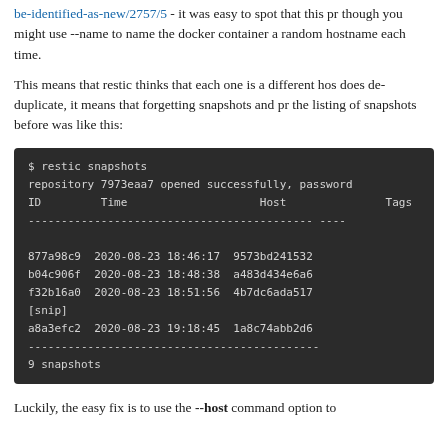be-identified-as-new/2757/5 - it was easy to spot that this pr though you might use --name to name the docker container a random hostname each time.
This means that restic thinks that each one is a different hos does de-duplicate, it means that forgetting snapshots and pr the listing of snapshots before was like this:
[Figure (screenshot): Terminal output showing restic snapshots command with multiple snapshot entries having different hostnames (random docker hostnames), 9 snapshots total.]
Luckily, the easy fix is to use the --host command option to